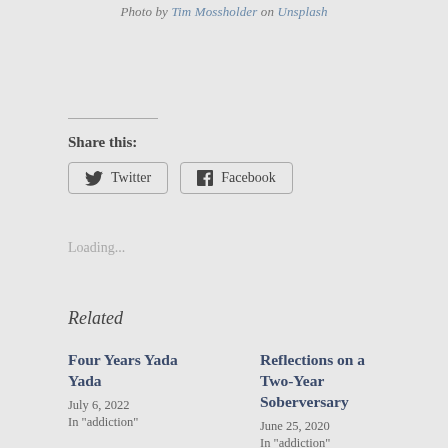Photo by Tim Mossholder on Unsplash
Share this:
Twitter  Facebook
Loading...
Related
Four Years Yada Yada
July 6, 2022
In "addiction"
Reflections on a Two-Year Soberversary
June 25, 2020
In "addiction"